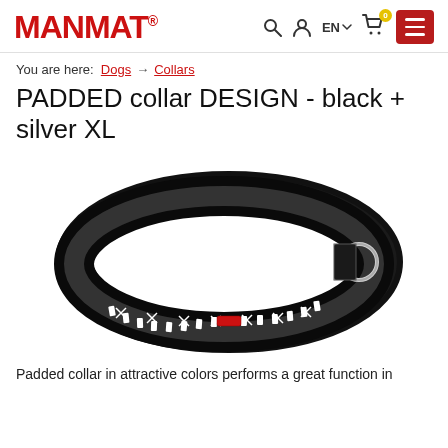MANMAT. — EN — cart (0) — menu
You are here: Dogs → Collars
PADDED collar DESIGN - black + silver XL
[Figure (photo): A black padded dog collar with a white geometric/Aztec-style design pattern on the outer band, a silver D-ring metal hardware, and a red brand label. The collar is shown in an oval/loop shape against a white background.]
Padded collar in attractive colors performs a great function in